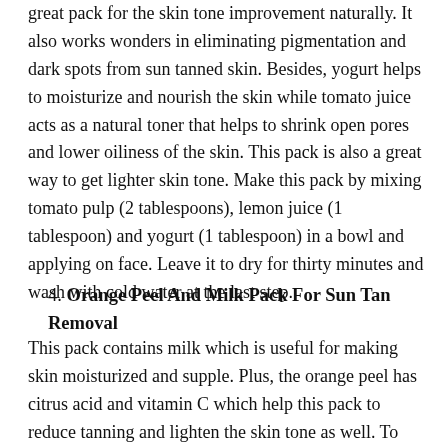great pack for the skin tone improvement naturally. It also works wonders in eliminating pigmentation and dark spots from sun tanned skin. Besides, yogurt helps to moisturize and nourish the skin while tomato juice acts as a natural toner that helps to shrink open pores and lower oiliness of the skin. This pack is also a great way to get lighter skin tone. Make this pack by mixing tomato pulp (2 tablespoons), lemon juice (1 tablespoon) and yogurt (1 tablespoon) in a bowl and applying on face. Leave it to dry for thirty minutes and wash with cold water at the last step.
4. Orange Peel And Milk Pack For Sun Tan Removal
This pack contains milk which is useful for making skin moisturized and supple. Plus, the orange peel has citrus acid and vitamin C which help this pack to reduce tanning and lighten the skin tone as well. To make this pack, you take a spoonful of orange peel powder in 1 bowl. Later add raw milk (a teaspoon) to it and form it into a paste. Once done